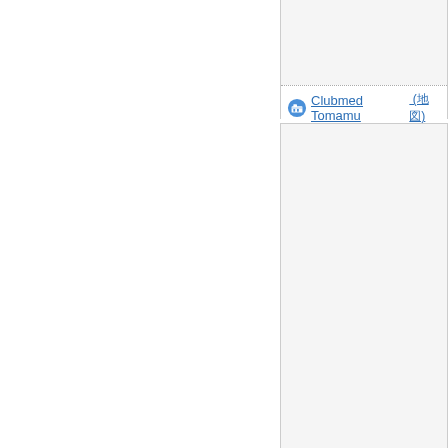[Figure (screenshot): Partial view of a travel/hotel listing website showing two cards for 'Clubmed Tomamu' with dates 2019-02-14, and a third partial card at the bottom. Left portion of the page is blank white.]
Clubmed Tomamu (地図) 2019-02-14
Clubmed Tomamu (地図) 2019-02-14